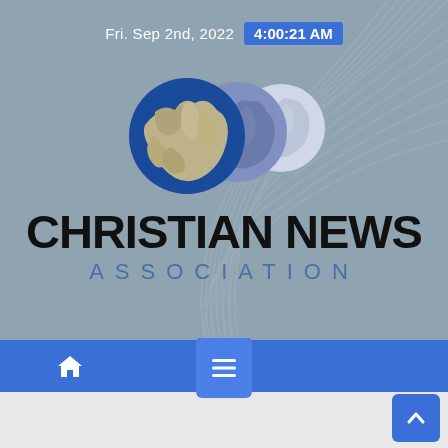Fri. Sep 2nd, 2022  4:00:21 AM
[Figure (logo): Christian News Association logo with three overlapping globe illustrations (blue, purple-blue, light gray) showing world map continents, and bold text CHRISTIAN NEWS ASSOCIATION below]
Navigation bar with home icon and hamburger menu icon